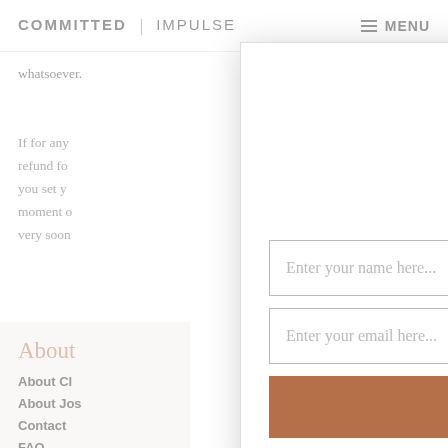COMMITTED | IMPULSE   MENU
whatsoever.
If for any refund fo you set y moment o very soon
Get the 4 tools to help you book more jobs, perform better and gain confidence in your work
Enter your name here...
Enter your email here...
GET THE FREE TOOLS
About
About CI
About Jos
Contact
FAQ